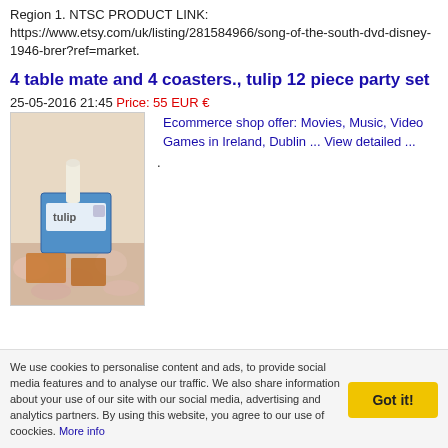Region 1. NTSC PRODUCT LINK: https://www.etsy.com/uk/listing/281584966/song-of-the-south-dvd-disney-1946-brer?ref=market.
4 table mate and 4 coasters., tulip 12 piece party set
25-05-2016 21:45 Price: 55 EUR €
Ecommerce shop offer: Movies, Music, Video Games in Ireland, Dublin ... View detailed ... .
[Figure (photo): Photo of tulip 12 piece party set product, showing a box with 'tulip' branding and coasters/table mats on a floral surface]
We use cookies to personalise content and ads, to provide social media features and to analyse our traffic. We also share information about your use of our site with our social media, advertising and analytics partners. By using this website, you agree to our use of coockies. More info